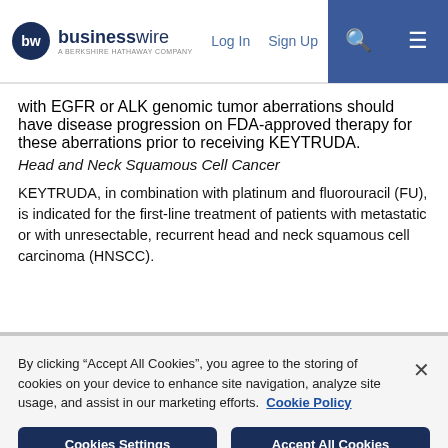businesswire — A BERKSHIRE HATHAWAY COMPANY | Log In | Sign Up
with EGFR or ALK genomic tumor aberrations should have disease progression on FDA-approved therapy for these aberrations prior to receiving KEYTRUDA.
Head and Neck Squamous Cell Cancer
KEYTRUDA, in combination with platinum and fluorouracil (FU), is indicated for the first-line treatment of patients with metastatic or with unresectable, recurrent head and neck squamous cell carcinoma (HNSCC).
By clicking “Accept All Cookies”, you agree to the storing of cookies on your device to enhance site navigation, analyze site usage, and assist in our marketing efforts. Cookie Policy
Cookies Settings | Accept All Cookies